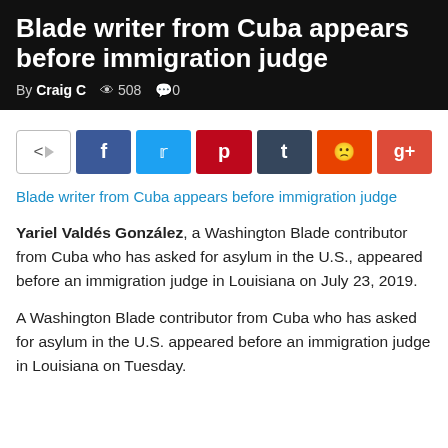Blade writer from Cuba appears before immigration judge
By Craig C  508  0
[Figure (other): Social share buttons: share icon box with arrow, then Facebook (f), Twitter (bird), Pinterest (p), Tumblr (t), Reddit (alien), Google+ (g+)]
Blade writer from Cuba appears before immigration judge
Yariel Valdés González, a Washington Blade contributor from Cuba who has asked for asylum in the U.S., appeared before an immigration judge in Louisiana on July 23, 2019.

A Washington Blade contributor from Cuba who has asked for asylum in the U.S. appeared before an immigration judge in Louisiana on Tuesday.